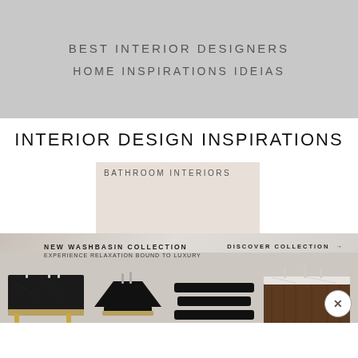BEST INTERIOR DESIGNERS
HOME INSPIRATIONS IDEIAS
INTERIOR DESIGN INSPIRATIONS
BATHROOM INTERIORS
DOWNLOAD NOW →
[Figure (infographic): Advertisement banner showing NEW WASHBASIN COLLECTION — EXPERIENCE RELAXATION BOUND TO LUXURY with four furniture/washbasin pieces on a marble-textured background, with DISCOVER COLLECTION → button on the right and a close X button.]